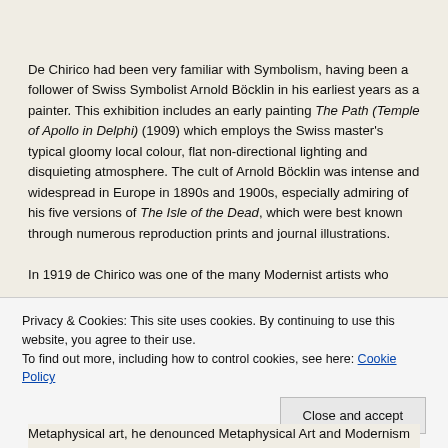De Chirico had been very familiar with Symbolism, having been a follower of Swiss Symbolist Arnold Böcklin in his earliest years as a painter. This exhibition includes an early painting The Path (Temple of Apollo in Delphi) (1909) which employs the Swiss master's typical gloomy local colour, flat non-directional lighting and disquieting atmosphere. The cult of Arnold Böcklin was intense and widespread in Europe in 1890s and 1900s, especially admiring of his five versions of The Isle of the Dead, which were best known through numerous reproduction prints and journal illustrations.

In 1919 de Chirico was one of the many Modernist artists who
Privacy & Cookies: This site uses cookies. By continuing to use this website, you agree to their use.
To find out more, including how to control cookies, see here: Cookie Policy
Metaphysical art, he denounced Metaphysical Art and Modernism